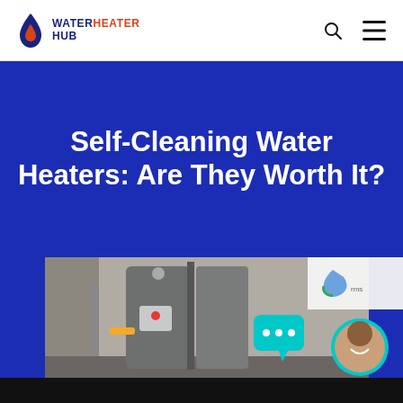WATER HEATER HUB
Self-Cleaning Water Heaters: Are They Worth It?
[Figure (photo): Photo of a water heater installation with pipes and valves visible, set against a beige wall. A cyan chat bubble icon with three dots is visible, along with a circular avatar of a smiling woman and a reCAPTCHA badge partially visible.]